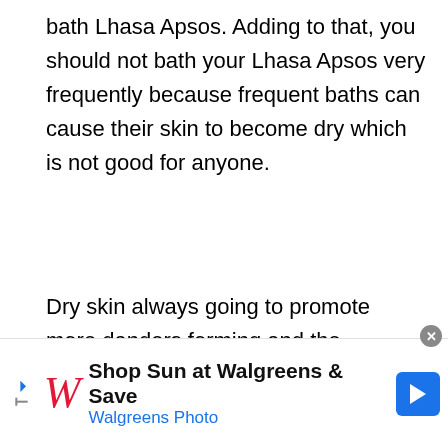bath Lhasa Apsos. Adding to that, you should not bath your Lhasa Apsos very frequently because frequent baths can cause their skin to become dry which is not good for anyone.
Dry skin always going to promote more danders forming and the shedding will also be maximum. Adding to that, you should always use a good quality of shampoo that is going to ensure that all the debris, dirt, dander and allergens get washed away with the water.
[Figure (other): Advertisement banner for Walgreens Photo: 'Shop Sun at Walgreens & Save' with Walgreens cursive logo, navigation arrow icon, and close button.]